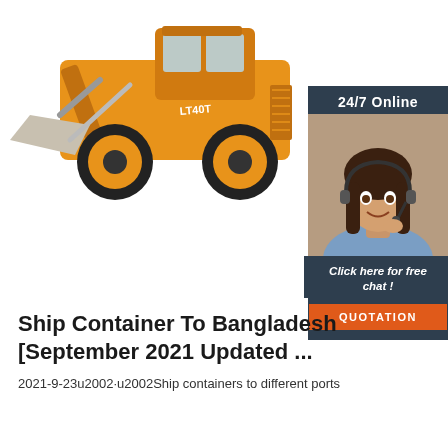[Figure (photo): Yellow front loader / wheel loader construction machine (marked LT40T) carrying a large grey rock/concrete block, photographed on white background]
[Figure (infographic): Customer service chat widget: dark blue-grey background with '24/7 Online' header, photo of smiling woman with headset, text 'Click here for free chat!' and orange QUOTATION button]
Ship Container To Bangladesh [September 2021 Updated ...
2021-9-23u2002·u2002Ship containers to different ports